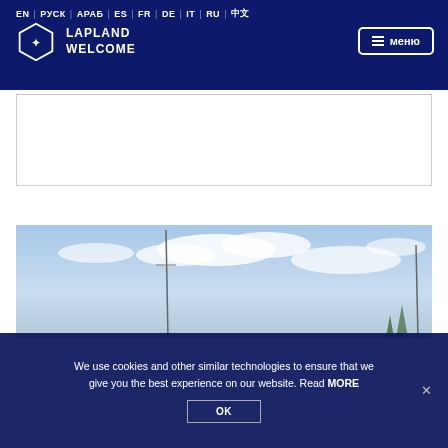EN | РУС | АРАБ | ES | FR | DE | IT | RU | 中文
[Figure (logo): Lapland Welcome hexagon logo with reindeer antlers icon and text LAPLAND WELCOME]
≡ меню
[Figure (photo): Outdoor scene with blue sky and clouds, tall poles/masts visible, sparse vegetation]
We use cookies and other similar technologies to ensure that we give you the best experience on our website. Read MORE
OK